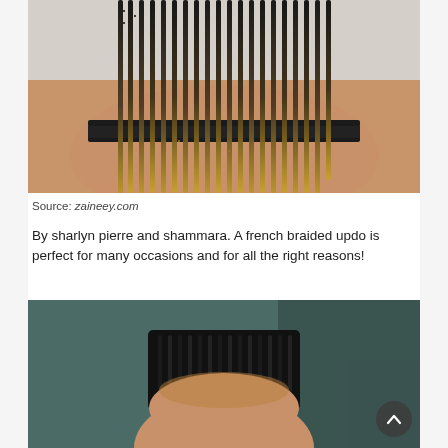[Figure (photo): Back view of a person with long box braids transitioning from dark black at roots to golden/honey blonde at ends, wearing a nude and black sports bra. Hair hangs down the back.]
Source: zaineey.com
By sharlyn pierre and shammara. A french braided updo is perfect for many occasions and for all the right reasons!
[Figure (photo): Front view of a person with dark box braids styled up, showing forehead and face partially, against a teal/dark green background. A circular scroll-to-top button is visible in the bottom right.]